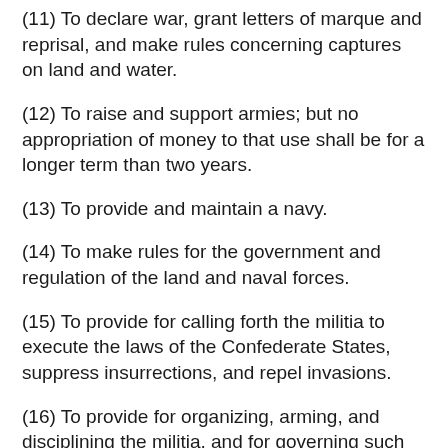(11) To declare war, grant letters of marque and reprisal, and make rules concerning captures on land and water.
(12) To raise and support armies; but no appropriation of money to that use shall be for a longer term than two years.
(13) To provide and maintain a navy.
(14) To make rules for the government and regulation of the land and naval forces.
(15) To provide for calling forth the militia to execute the laws of the Confederate States, suppress insurrections, and repel invasions.
(16) To provide for organizing, arming, and disciplining the militia, and for governing such part of them as may be employed in the service of the Confederate States; reserving to the States, respectively, the appointment of the officers, and the authority of training the militia according to the discipline prescribed by Congress.
(17) To exercise exclusive legislation, in all cases...